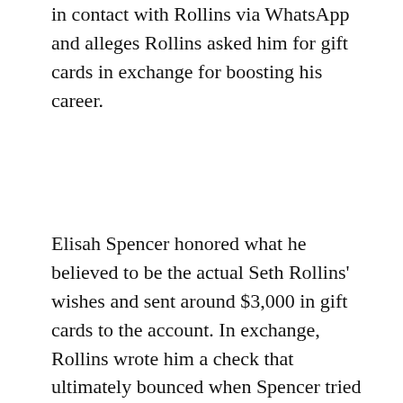in contact with Rollins via WhatsApp and alleges Rollins asked him for gift cards in exchange for boosting his career.
Elisah Spencer honored what he believed to be the actual Seth Rollins' wishes and sent around $3,000 in gift cards to the account. In exchange, Rollins wrote him a check that ultimately bounced when Spencer tried to cash it. It sounds like Spencer became the victim of a catfishing scam, though Spencer has maintained he talked to the actual Seth Rollins. Fast-forward to Monday Night Raw and Spencer jumped the